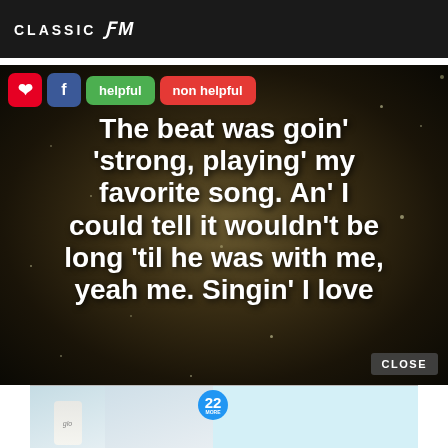CLASSIC fM
[Figure (screenshot): Screenshot of a song lyrics image with social sharing buttons (Pinterest, Facebook, 'helpful', 'non helpful'). Lyrics read: The beat was goin' strong, playing' my favorite song. An' I could tell it wouldn't be long 'til he was with me, yeah me. Singin' I love. Dark sparkly background. CLOSE button and advertisement banner for '37 BEAUTY PRODUCTS WITH SUCH GOOD REVIEWS YOU MIGHT WANT TO TRY THEM YOURSELF' visible at bottom.]
helpful
non helpful
The beat was goin' strong, playing' my favorite song. An' I could tell it wouldn't be long 'til he was with me, yeah me. Singin' I love
CLOSE
37 BEAUTY PRODUCTS WITH SUCH GOOD REVIEWS YOU MIGHT WANT TO TRY THEM YOURSELF